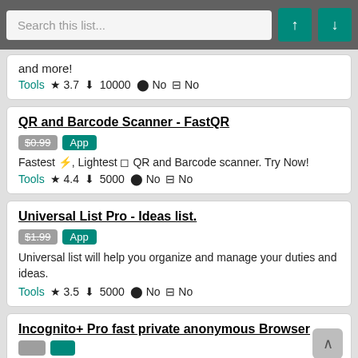Search this list...
and more! Tools ★ 3.7 ⬇ 10000 ⚠ No 🛒 No
QR and Barcode Scanner - FastQR
$0.99 App
Fastest ⚡, Lightest 🏅 QR and Barcode scanner. Try Now!
Tools ★ 4.4 ⬇ 5000 ⚠ No 🛒 No
Universal List Pro - Ideas list.
$1.99 App
Universal list will help you organize and manage your duties and ideas.
Tools ★ 3.5 ⬇ 5000 ⚠ No 🛒 No
Incognito+ Pro fast private anonymous Browser